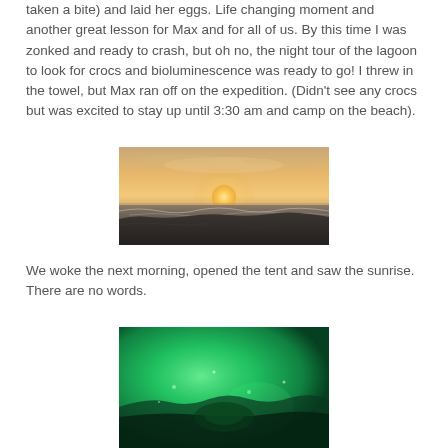taken a bite) and laid her eggs. Life changing moment and another great lesson for Max and for all of us. By this time I was zonked and ready to crash, but oh no, the night tour of the lagoon to look for crocs and bioluminescence was ready to go! I threw in the towel, but Max ran off on the expedition. (Didn't see any crocs but was excited to stay up until 3:30 am and camp on the beach).
[Figure (photo): Sunset over ocean with waves crashing on rocky beach, orange and golden hazy sky]
We woke the next morning, opened the tent and saw the sunrise. There are no words.
[Figure (photo): Bright green glowing underwater or bioluminescence scene]